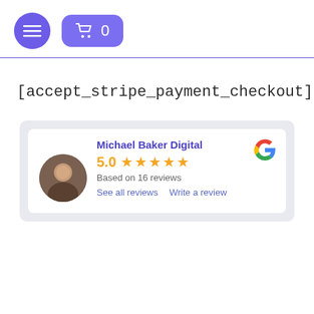[Figure (screenshot): Navigation header with purple circular menu button (hamburger icon) and purple rounded rectangle cart button showing count 0]
[accept_stripe_payment_checkout]
[Figure (infographic): Google reviews widget showing Michael Baker Digital with 5.0 rating based on 16 reviews, with avatar photo, 5 orange stars, and links to See all reviews and Write a review]